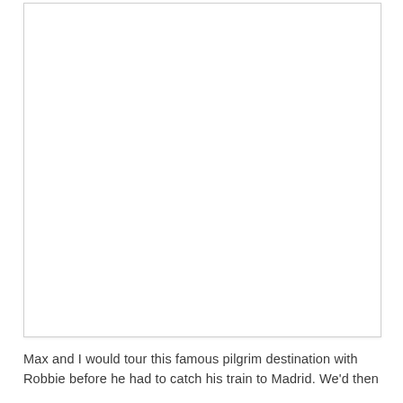[Figure (photo): A large white rectangular area representing a photo or image placeholder, shown with a light border.]
Max and I would tour this famous pilgrim destination with Robbie before he had to catch his train to Madrid. We'd then